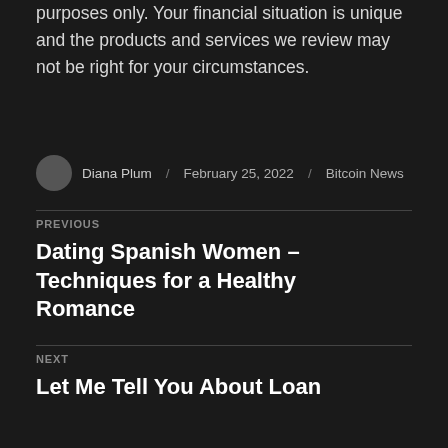purposes only. Your financial situation is unique and the products and services we review may not be right for your circumstances.
Diana Plum / February 25, 2022 / Bitcoin News
PREVIOUS
Dating Spanish Women – Techniques for a Healthy Romance
NEXT
Let Me Tell You About Loan